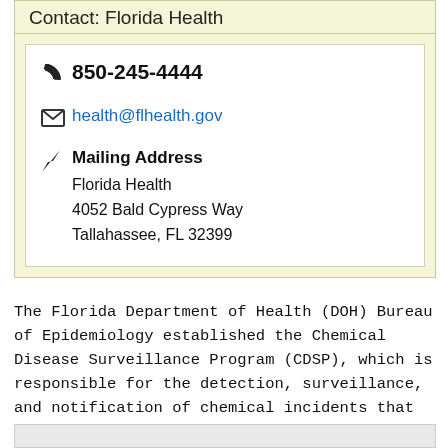Contact: Florida Health
850-245-4444
health@flhealth.gov
Mailing Address
Florida Health
4052 Bald Cypress Way
Tallahassee, FL 32399
The Florida Department of Health (DOH) Bureau of Epidemiology established the Chemical Disease Surveillance Program (CDSP), which is responsible for the detection, surveillance, and notification of chemical incidents that impact the citizens and visitors of Florida. The CDSP works closely with epidemiologists located at the county health departments to follow-up and investigate chemical incidents of public health concern.